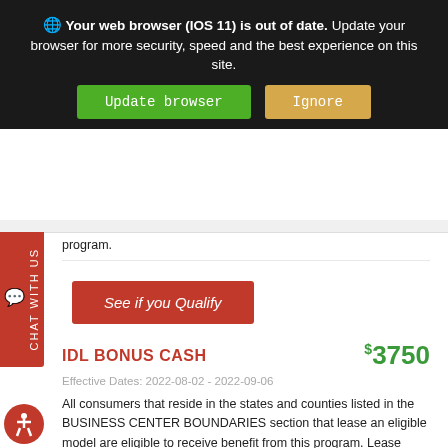Your web browser (IOS 11) is out of date. Update your browser for more security, speed and the best experience on this site. [Update browser] [Ignore]
program.
See if you Qualify
IDL BONUS CASH $3750
Effective Dates: 2022-08-02 - 2022-09-06
All consumers that reside in the states and counties listed in the BUSINESS CENTER BOUNDARIES section that lease an eligible model are eligible to receive benefit from this program. Lease transactions cannot be financed through Chrysler Capital. Residency restrictions may apply. Program compatibility is available in DealerCONNECT. This program is not compatible with any Chrysler Capital Lease